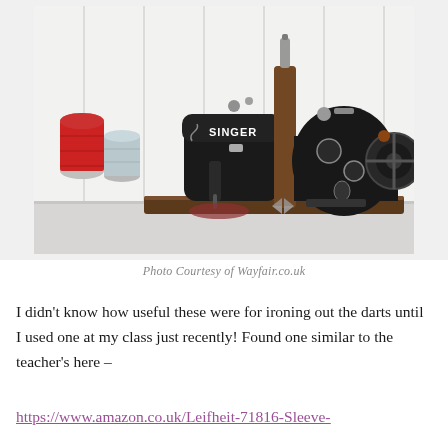[Figure (photo): Photograph of two vintage Singer sewing machine bookends on a wooden base, with spools of thread (red and light blue) visible on the left side, against a white panelled wall background. 'SINGER' is written in white on the black machine.]
Photo Courtesy of Wayfair.co.uk
I didn't know how useful these were for ironing out the darts until I used one at my class just recently!  Found one similar to the teacher's here –
https://www.amazon.co.uk/Leifheit-71816-Sleeve-